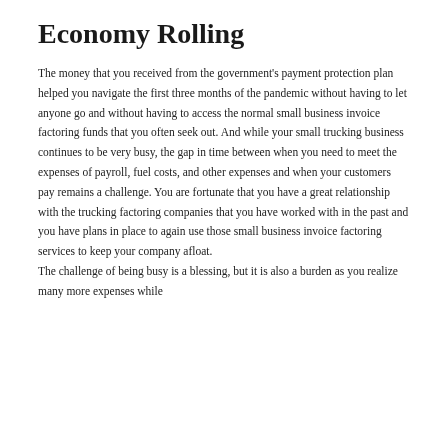Economy Rolling
The money that you received from the government's payment protection plan helped you navigate the first three months of the pandemic without having to let anyone go and without having to access the normal small business invoice factoring funds that you often seek out. And while your small trucking business continues to be very busy, the gap in time between when you need to meet the expenses of payroll, fuel costs, and other expenses and when your customers pay remains a challenge. You are fortunate that you have a great relationship with the trucking factoring companies that you have worked with in the past and you have plans in place to again use those small business invoice factoring services to keep your company afloat.
The challenge of being busy is a blessing, but it is also a burden as you realize many more expenses while